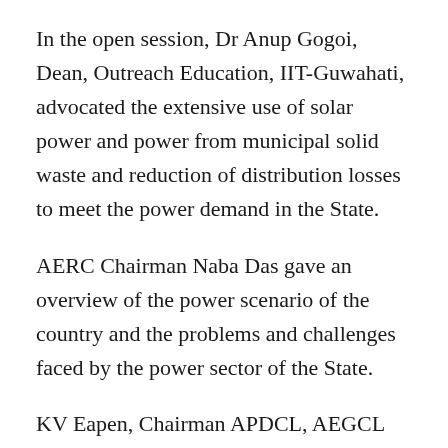In the open session, Dr Anup Gogoi, Dean, Outreach Education, IIT-Guwahati, advocated the extensive use of solar power and power from municipal solid waste and reduction of distribution losses to meet the power demand in the State.
AERC Chairman Naba Das gave an overview of the power scenario of the country and the problems and challenges faced by the power sector of the State.
KV Eapen, Chairman APDCL, AEGCL and APGCL, urged the power engineers to rededicate themselves to the noble task of supplying quality power and better service to the people of the State.
Girin Das and Muktananda Sarma, retired engineers of the ASEB, requested the Government of Assam to...